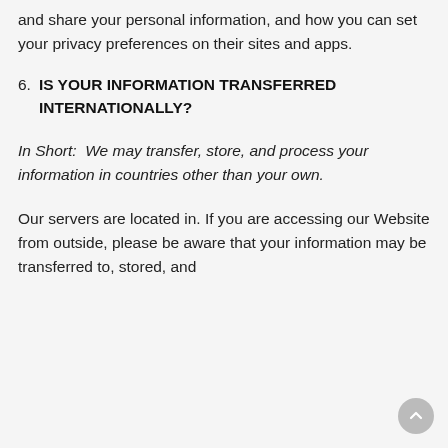and share your personal information, and how you can set your privacy preferences on their sites and apps.
6. IS YOUR INFORMATION TRANSFERRED INTERNATIONALLY?
In Short:  We may transfer, store, and process your information in countries other than your own.
Our servers are located in. If you are accessing our Website from outside, please be aware that your information may be transferred to, stored, and